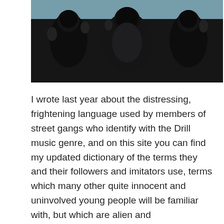[Figure (photo): Photograph of a group of masked individuals making hand gestures, dressed in dark winter clothing, with a light sky in the background. Faces are covered with balaclavas and scarves.]
I wrote last year about the distressing, frightening language used by members of street gangs who identify with the Drill music genre, and on this site you can find my updated dictionary of the terms they and their followers and imitators use, terms which many other quite innocent and uninvolved young people will be familiar with, but which are alien and incomprehensible to most adults. There are links to news articles accompanying the Drill Dictionary, and other articles on youth slang and so-called MLE on this site too.